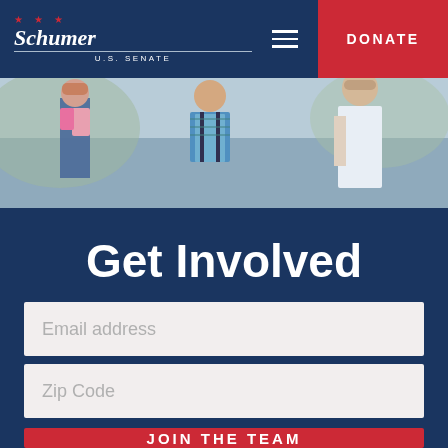Schumer U.S. Senate | DONATE
[Figure (photo): Family with children, backpacks visible, adults and kids walking together outdoors]
Get Involved
Email address
Zip Code
JOIN THE TEAM